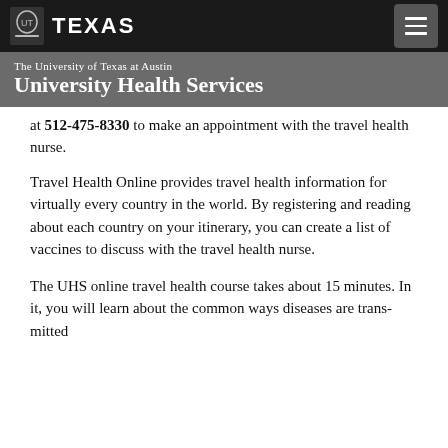TEXAS — The University of Texas at Austin University Health Services
at 512-475-8330 to make an appointment with the travel health nurse.
Travel Health Online provides travel health information for virtually every country in the world. By registering and reading about each country on your itinerary, you can create a list of vaccines to discuss with the travel health nurse.
The UHS online travel health course takes about 15 minutes. In it, you will learn about the common ways diseases are transmitted